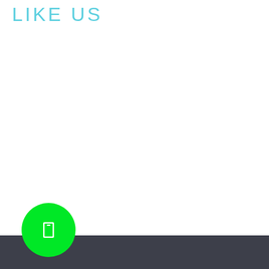LIKE US
[Figure (illustration): Large white blank area below the title]
Dark footer bar with a green circular button containing a white icon